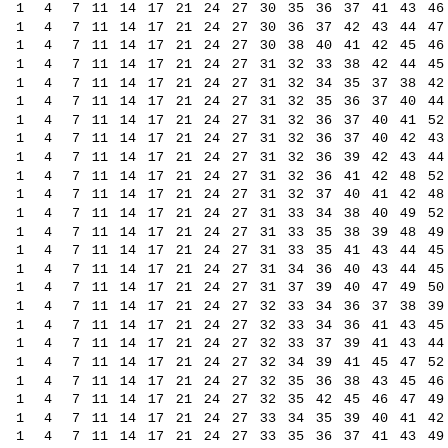| 1 | 4 | 7 | 11 | 14 | 17 | 21 | 24 | 27 | 30 | 35 | 36 | 37 | 41 | 43 | 46 | 47 | 50 | 5 |
| 1 | 4 | 7 | 11 | 14 | 17 | 21 | 24 | 27 | 30 | 36 | 37 | 42 | 43 | 44 | 47 | 48 | 50 | 5 |
| 1 | 4 | 7 | 11 | 14 | 17 | 21 | 24 | 27 | 30 | 38 | 40 | 41 | 42 | 45 | 46 | 48 | 49 | 5 |
| 1 | 4 | 7 | 11 | 14 | 17 | 21 | 24 | 27 | 31 | 32 | 33 | 38 | 42 | 44 | 45 | 47 | 48 | 5 |
| 1 | 4 | 7 | 11 | 14 | 17 | 21 | 24 | 27 | 31 | 32 | 34 | 35 | 37 | 38 | 42 | 43 | 49 | 5 |
| 1 | 4 | 7 | 11 | 14 | 17 | 21 | 24 | 27 | 31 | 32 | 35 | 36 | 37 | 40 | 44 | 51 | 52 | 5 |
| 1 | 4 | 7 | 11 | 14 | 17 | 21 | 24 | 27 | 31 | 32 | 36 | 37 | 40 | 41 | 52 | 53 | 54 | 5 |
| 1 | 4 | 7 | 11 | 14 | 17 | 21 | 24 | 27 | 31 | 32 | 36 | 37 | 40 | 42 | 43 | 48 | 53 | 5 |
| 1 | 4 | 7 | 11 | 14 | 17 | 21 | 24 | 27 | 31 | 32 | 36 | 39 | 42 | 43 | 44 | 45 | 49 | 5 |
| 1 | 4 | 7 | 11 | 14 | 17 | 21 | 24 | 27 | 31 | 32 | 36 | 41 | 42 | 48 | 52 | 53 | 54 | 5 |
| 1 | 4 | 7 | 11 | 14 | 17 | 21 | 24 | 27 | 31 | 32 | 37 | 40 | 41 | 42 | 48 | 52 | 54 | 5 |
| 1 | 4 | 7 | 11 | 14 | 17 | 21 | 24 | 27 | 31 | 33 | 34 | 38 | 40 | 49 | 52 | 54 | 55 | 5 |
| 1 | 4 | 7 | 11 | 14 | 17 | 21 | 24 | 27 | 31 | 33 | 35 | 38 | 39 | 48 | 49 | 50 | 53 | 5 |
| 1 | 4 | 7 | 11 | 14 | 17 | 21 | 24 | 27 | 31 | 33 | 35 | 41 | 43 | 44 | 45 | 51 | 53 | 5 |
| 1 | 4 | 7 | 11 | 14 | 17 | 21 | 24 | 27 | 31 | 34 | 36 | 40 | 43 | 44 | 45 | 47 | 48 | 4 |
| 1 | 4 | 7 | 11 | 14 | 17 | 21 | 24 | 27 | 31 | 37 | 39 | 40 | 47 | 49 | 50 | 51 | 52 | 5 |
| 1 | 4 | 7 | 11 | 14 | 17 | 21 | 24 | 27 | 32 | 33 | 34 | 36 | 37 | 38 | 39 | 40 | 46 | 4 |
| 1 | 4 | 7 | 11 | 14 | 17 | 21 | 24 | 27 | 32 | 33 | 34 | 36 | 41 | 43 | 45 | 48 | 50 | 5 |
| 1 | 4 | 7 | 11 | 14 | 17 | 21 | 24 | 27 | 32 | 33 | 37 | 39 | 41 | 43 | 44 | 46 | 54 | 5 |
| 1 | 4 | 7 | 11 | 14 | 17 | 21 | 24 | 27 | 32 | 34 | 39 | 41 | 45 | 47 | 52 | 53 | 54 | 5 |
| 1 | 4 | 7 | 11 | 14 | 17 | 21 | 24 | 27 | 32 | 35 | 36 | 38 | 43 | 45 | 46 | 50 | 53 | 5 |
| 1 | 4 | 7 | 11 | 14 | 17 | 21 | 24 | 27 | 32 | 35 | 42 | 45 | 46 | 47 | 49 | 52 | 56 | 5 |
| 1 | 4 | 7 | 11 | 14 | 17 | 21 | 24 | 27 | 33 | 34 | 35 | 39 | 40 | 41 | 42 | 43 | 48 | 5 |
| 1 | 4 | 7 | 11 | 14 | 17 | 21 | 24 | 27 | 33 | 35 | 36 | 37 | 41 | 43 | 49 | 50 | 53 | 5 |
| 1 | 4 | 7 | 11 | 14 | 17 | 21 | 24 | 27 | 33 | 35 | 36 | 38 | 40 | 45 | 47 | 51 | 53 | 5 |
| 1 | 4 | 7 | 11 | 14 | 17 | 21 | 24 | 27 | 33 | 36 | 37 | 42 | 46 | 48 | 49 | 51 | 55 | 5 |
| 1 | 4 | 7 | 11 | 14 | 17 | 21 | 24 | 27 | 33 | 37 | 40 | 44 | 46 | 47 | 48 | 50 | 52 | 5 |
| 1 | 4 | 7 | 11 | 14 | 17 | 21 | 24 | 27 | 34 | 35 | 37 | 38 | 40 | 41 | 42 | 47 | 50 | 5 |
| 1 | 4 | 7 | 11 | 14 | 17 | 21 | 24 | 27 | 34 | 35 | 39 | 42 | 44 | 46 | 47 | 48 | 49 | 5 |
| 1 | 4 | 7 | 11 | 14 | 17 | 21 | 24 | 27 | 34 | 35 | 39 | 42 | 46 | 47 | 48 | 51 | 54 | 5 |
| 1 | 4 | 7 | 11 | 14 | 17 | 21 | 24 | 27 | 34 | 35 | 39 | 44 | 46 | 49 | 49 | 51 | 54 | 5 |